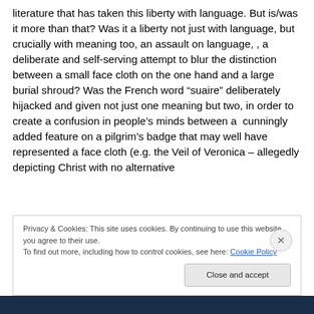literature that has taken this liberty with language. But is/was it more than that? Was it a liberty not just with language, but crucially with meaning too, an assault on language, , a deliberate and self-serving attempt to blur the distinction between a small face cloth on the one hand and a large burial shroud? Was the French word “suaire” deliberately hijacked and given not just one meaning but two, in order to create a confusion in people’s minds between a  cunningly added feature on a pilgrim’s badge that may well have represented a face cloth (e.g. the Veil of Veronica – allegedly depicting Christ with no alternative
Privacy & Cookies: This site uses cookies. By continuing to use this website, you agree to their use.
To find out more, including how to control cookies, see here: Cookie Policy